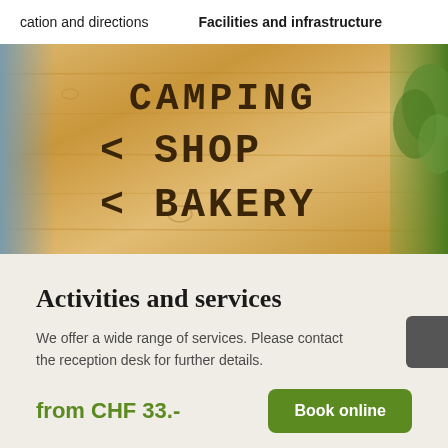cation and directions    Facilities and infrastructure
[Figure (photo): Wooden sign board with text 'CAMPING < SHOP < BAKERY' in dark lettering on light pine wood, with green trees visible on the right side]
Activities and services
We offer a wide range of services. Please contact the reception desk for further details.
from CHF 33.-
Book online